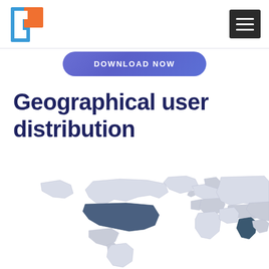[Figure (logo): Blue and orange square bracket / window logo icon]
[Figure (other): Hamburger menu icon (three white horizontal lines on dark background)]
DOWNLOAD NOW
Geographical user distribution
[Figure (map): Partial world map showing North America, Europe, and Asia with highlighted regions in dark blue-grey indicating user concentration. USA and parts of Asia are prominently highlighted.]